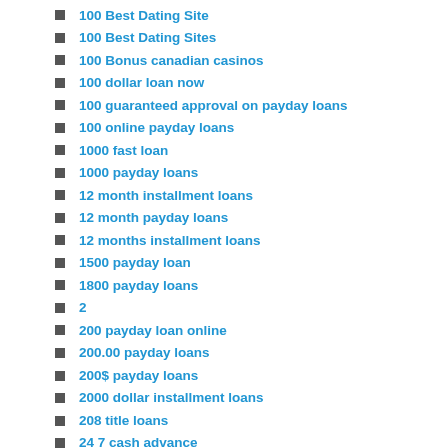100 Best Dating Site
100 Best Dating Sites
100 Bonus canadian casinos
100 dollar loan now
100 guaranteed approval on payday loans
100 online payday loans
1000 fast loan
1000 payday loans
12 month installment loans
12 month payday loans
12 months installment loans
1500 payday loan
1800 payday loans
2
200 payday loan online
200.00 payday loans
200$ payday loans
2000 dollar installment loans
208 title loans
24 7 cash advance
24 7 installment loans
24 7 instant payday loans